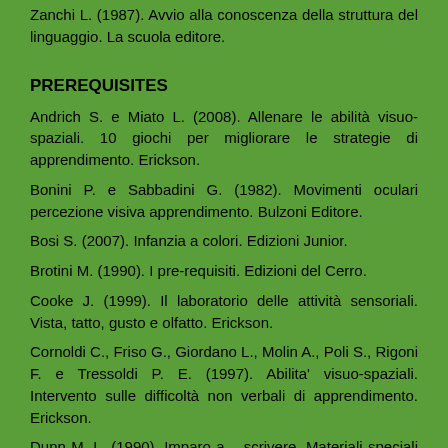Zanchi L. (1987). Avvio alla conoscenza della struttura del linguaggio. La scuola editore.
PREREQUISITES
Andrich S. e Miato L. (2008). Allenare le abilità visuo-spaziali. 10 giochi per migliorare le strategie di apprendimento. Erickson.
Bonini P. e Sabbadini G. (1982). Movimenti oculari percezione visiva apprendimento. Bulzoni Editore.
Bosi S. (2007). Infanzia a colori. Edizioni Junior.
Brotini M. (1990). I pre-requisiti. Edizioni del Cerro.
Cooke J. (1999). Il laboratorio delle attività sensoriali. Vista, tatto, gusto e olfatto. Erickson.
Cornoldi C., Friso G., Giordano L., Molin A., Poli S., Rigoni F. e Tressoldi P. E. (1997). Abilita' visuo-spaziali. Intervento sulle difficoltà non verbali di apprendimento. Erickson.
Dunn M. L. (1990). Imparo a….scrivere. Materiali speciali per la prescrittura e la coordinazione visuomotoria.